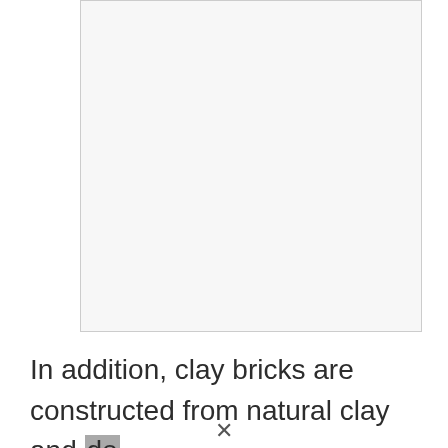[Figure (other): A blank light gray rectangular image placeholder with a thin border]
In addition, clay bricks are constructed from natural clay and do